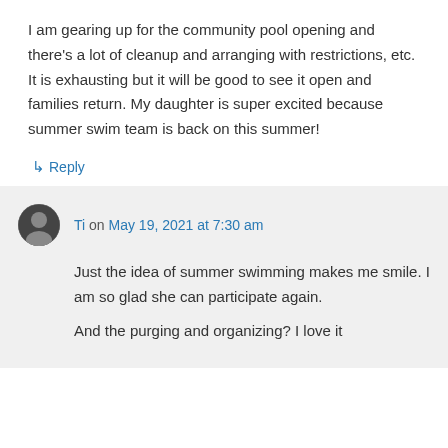I am gearing up for the community pool opening and there's a lot of cleanup and arranging with restrictions, etc. It is exhausting but it will be good to see it open and families return. My daughter is super excited because summer swim team is back on this summer!
↳ Reply
Ti on May 19, 2021 at 7:30 am
Just the idea of summer swimming makes me smile. I am so glad she can participate again.
And the purging and organizing? I love it